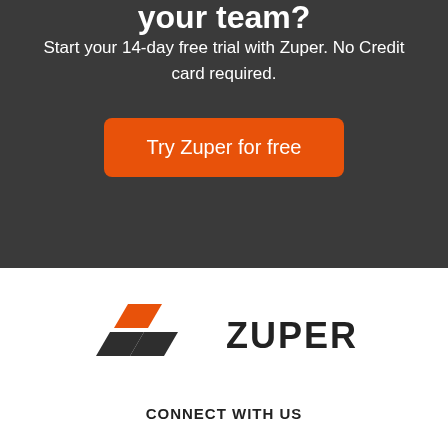your team?
Start your 14-day free trial with Zuper. No Credit card required.
[Figure (other): Orange CTA button reading 'Try Zuper for free']
[Figure (logo): Zuper logo with orange and dark grey parallelogram icon and ZUPER text]
CONNECT WITH US